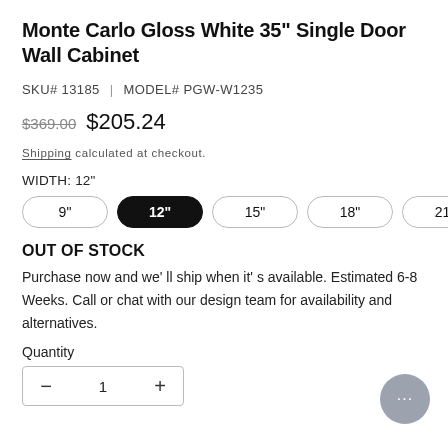Monte Carlo Gloss White 35" Single Door Wall Cabinet
SKU# 13185 | MODEL# PGW-W1235
$369.00  $205.24
Shipping calculated at checkout.
WIDTH: 12"
9"  12"  15"  18"  21"
OUT OF STOCK
Purchase now and we'll ship when it's available. Estimated 6-8 Weeks. Call or chat with our design team for availability and alternatives.
Quantity
- 1 +